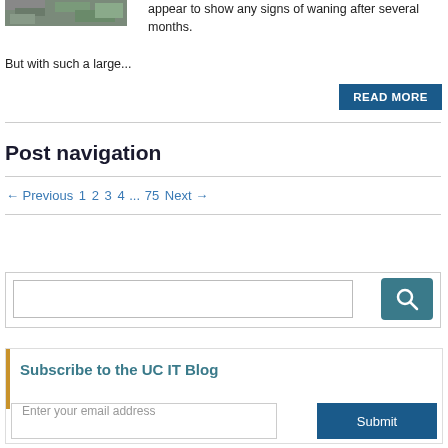[Figure (photo): Aerial photograph of a residential neighborhood]
appear to show any signs of waning after several months.
But with such a large...
READ MORE
Post navigation
← Previous 1 2 3 4 ... 75 Next →
Search box
Subscribe to the UC IT Blog
Enter your email address
Submit